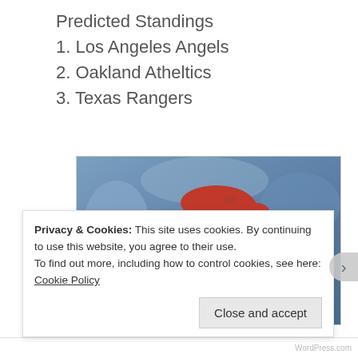Predicted Standings
1. Los Angeles Angels
2. Oakland Atheltics
3. Texas Rangers
[Figure (photo): Baseball player wearing red batting helmet, swinging, action shot with blurred blue background crowd]
Privacy & Cookies: This site uses cookies. By continuing to use this website, you agree to their use.
To find out more, including how to control cookies, see here: Cookie Policy
Close and accept